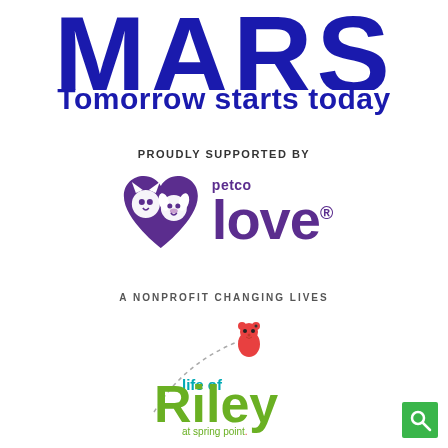MARS
Tomorrow starts today
PROUDLY SUPPORTED BY
[Figure (logo): Petco Love logo — purple heart shape containing two animal faces (dog and cat), with 'petco' in small text above and 'love' in large bold purple text, registered trademark symbol, tagline 'A NONPROFIT CHANGING LIVES']
[Figure (logo): Life of Riley at Spring Point logo — green and teal text 'Riley' with 'life of' in teal above, 'at spring point.' below in green small text, dotted curved line with a red cartoon bear/gummy bear character at top]
[Figure (other): Green square search/magnifying glass icon in bottom right corner]